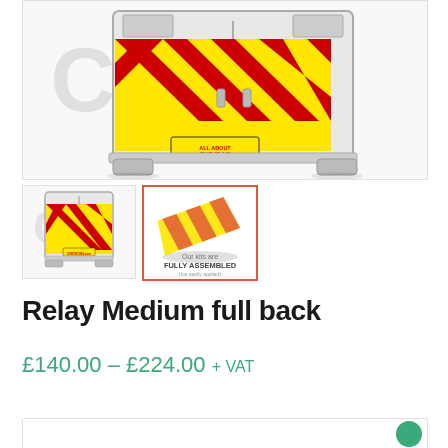[Figure (photo): Main product image showing rear view of a van with red and yellow chevron pattern on back doors, allaboutchevrons.com branded label visible]
[Figure (photo): Thumbnail 1: small image of van rear with red and yellow chevron pattern]
[Figure (photo): Thumbnail 2: image showing chevron kit pieces with text 'Our kits are FULLY ASSEMBLED (but easily applied)']
Relay Medium full back
£140.00 – £224.00 + VAT